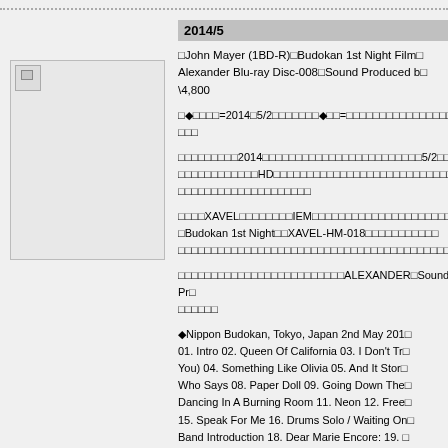[Figure (other): Decorative dotted border at top of page]
[Figure (photo): Product image placeholder with broken image icon]
2014/5
□John Mayer (1BD-R)□Budokan 1st Night Film□Alexander Blu-ray Disc-008□Sound Produced b□\4,800
□◆□□□□=2014□5/2□□□□□□□◆□□=□□□□□□□□□□□□□□□□□□□/□□□
□□□□□□□□□2014□□□□□□□□□□□□□□□□□□□□□□□□5/2□□□□□□□□□□□□□□□□□□□□□□HD□□□□□□□□□□□□□□□□□□□□□□□□□□□□□2□□□□□□□□□□□□□□□□□□□□□□□
□□□□XAVEL□□□□□□□□IEM□□□□□□□□□□□□□□□□□□□□□□X□Budokan 1st Night□□XAVEL-HM-018□□□□□□□□□□□□□□□□□□□□□□□□□□□□□□□□□□□□□□□□□□□□□□□□□□□
□□□□□□□□□□□□□□□□□□□□□□□□□ALEXANDER□Sound P□□□□□□
◆Nippon Budokan, Tokyo, Japan 2nd May 201□ 01. Intro 02. Queen Of California 03. I Don't Tr□ You) 04. Something Like Olivia 05. And It Stor□ Who Says 08. Paper Doll 09. Going Down The□ Dancing In A Burning Room 11. Neon 12. Free□ 15. Speak For Me 16. Drums Solo / Waiting On□ Band Introduction 18. Dear Marie Encore: 19. □ 20. Gravity 21. Outro